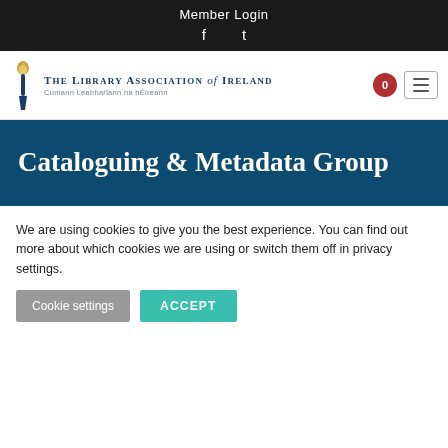Member Login
[Figure (logo): The Library Association of Ireland logo with torch/flame icon and text: 'The Library Association of Ireland, Cumann Leabharlann na hEireann']
Cataloguing & Metadata Group
We are using cookies to give you the best experience. You can find out more about which cookies we are using or switch them off in privacy settings.